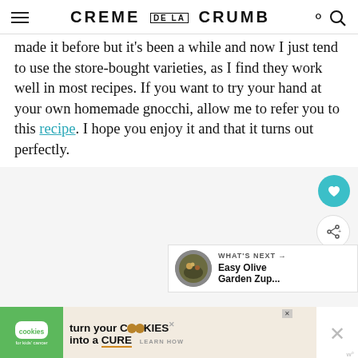CREME DE LA CRUMB
made it before but it's been a while and now I just tend to use the store-bought varieties, as I find they work well in most recipes. If you want to try your hand at your own homemade gnocchi, allow me to refer you to this recipe. I hope you enjoy it and that it turns out perfectly.
[Figure (screenshot): Light gray content area with floating teal heart button, floating white share button, and a 'What's Next' card showing Easy Olive Garden Zup... with a food photo thumbnail]
[Figure (infographic): Cookies for Kids Cancer advertisement banner: 'turn your COOKIES into a CURE LEARN HOW']